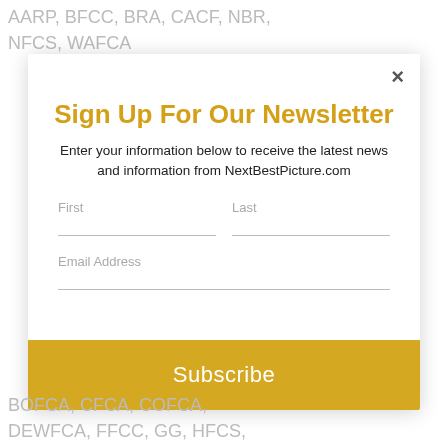AARP, BFCC, BRA, CACF, NBR, NFCS, WAFCA
[Figure (screenshot): Newsletter signup modal popup with title 'Sign Up For Our Newsletter', description text, First/Last name fields, Email Address field, and yellow Subscribe button with close X button]
BOFCA, CFCA, COFCA, DEWFCA, FFCC, GG, HFCS